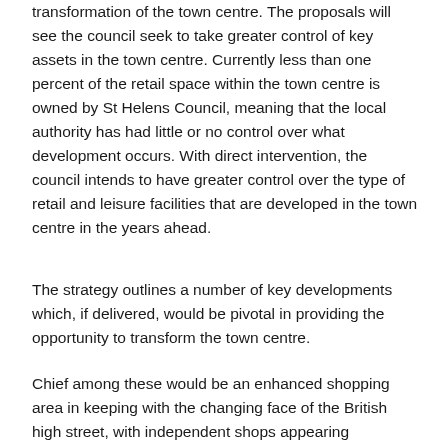transformation of the town centre. The proposals will see the council seek to take greater control of key assets in the town centre. Currently less than one percent of the retail space within the town centre is owned by St Helens Council, meaning that the local authority has had little or no control over what development occurs. With direct intervention, the council intends to have greater control over the type of retail and leisure facilities that are developed in the town centre in the years ahead.
The strategy outlines a number of key developments which, if delivered, would be pivotal in providing the opportunity to transform the town centre.
Chief among these would be an enhanced shopping area in keeping with the changing face of the British high street, with independent shops appearing alongside well known high street brands. More family-centred restaurants and cafés would